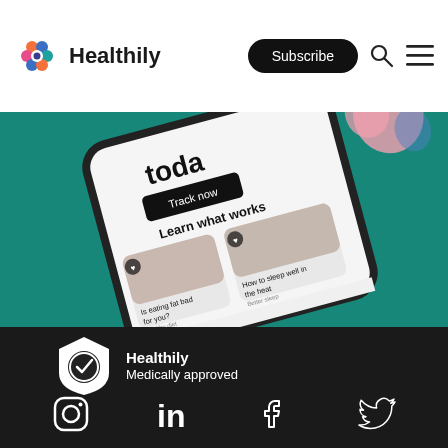Healthily — Subscribe
[Figure (screenshot): Screenshot of the Healthily app on a smartphone showing health tracking UI with 'Track now' button, 'Learn what works' section, article cards including 'Is eating fat bad for you?' and 'How to sleep well in the heat', displayed on a teal/green background]
[Figure (logo): Healthily Medically approved badge — white shield with checkmark icon and text 'Healthily Medically approved' on dark background]
Social media icons: Instagram, LinkedIn, Facebook, Twitter